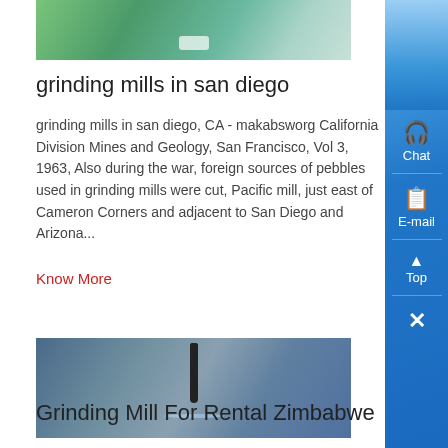[Figure (photo): Partial photo of an outdoor area, appears to be a construction or industrial scene with green background]
grinding mills in san diego
grinding mills in san diego, CA - makabsworg California Division Mines and Geology, San Francisco, Vol 3, 1963, Also during the war, foreign sources of pebbles used in grinding mills were cut, Pacific mill, just east of Cameron Corners and adjacent to San Diego and Arizona...
Know More
[Figure (photo): Photo of a drill bit pressing onto a wet surface, water splashing around it]
Grinding Mill For Rental Zimbabwe